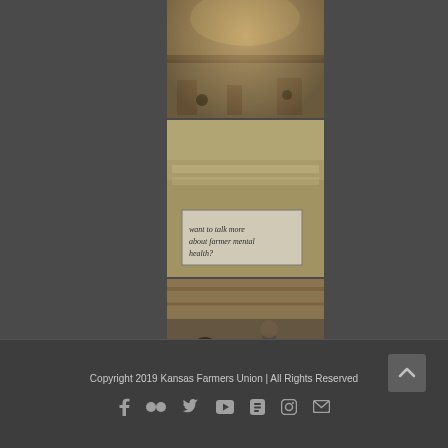[Figure (photo): Interior view of a barn or rustic venue with overhead chandeliers/lights, warm wood tones, people visible in background]
[Figure (photo): Event or meeting scene with a handwritten sign reading 'want to talk more about farmer mental health?' visible in foreground]
[Figure (photo): Inside barn/wood structure, person in dark jacket seated in foreground, presenter/speaker standing in background]
[Figure (photo): Exterior view of a low farm building under blue sky with hay bales and outdoor furniture in front]
Copyright 2019 Kansas Farmers Union | All Rights Reserved